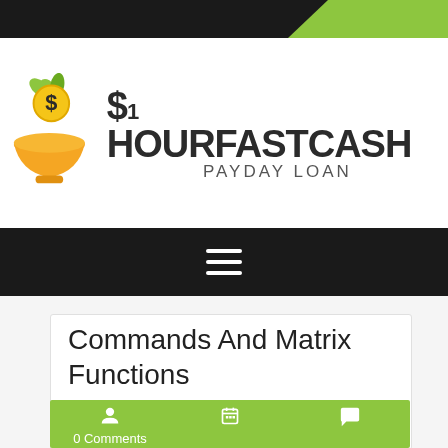[Figure (logo): 1 Hour Fast Cash Payday Loan logo with dollar sign in a bowl with leaves and bold text]
[Figure (other): Hamburger navigation menu icon (three white horizontal lines on black background)]
Commands And Matrix Functions
0 Comments